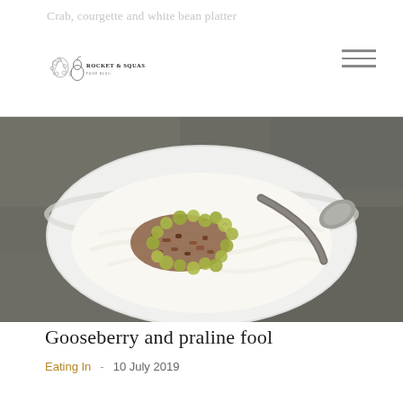Crab, courgette and white bean platter — ROCKET & SQUASH
[Figure (photo): A white bowl filled with creamy fool dessert topped with green gooseberries and crumbled praline, with a spoon resting in the bowl, photographed from above on a grey stone surface.]
Gooseberry and praline fool
Eating In  -  10 July 2019